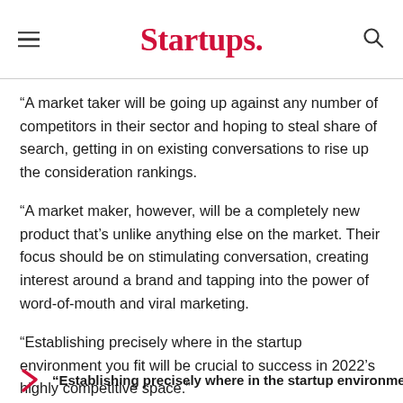Startups.
“A market taker will be going up against any number of competitors in their sector and hoping to steal share of search, getting in on existing conversations to rise up the consideration rankings.
“A market maker, however, will be a completely new product that’s unlike anything else on the market. Their focus should be on stimulating conversation, creating interest around a brand and tapping into the power of word-of-mouth and viral marketing.
“Establishing precisely where in the startup environment you fit will be crucial to success in 2022’s highly competitive space.”
“Establishing precisely where in the startup environment you fit